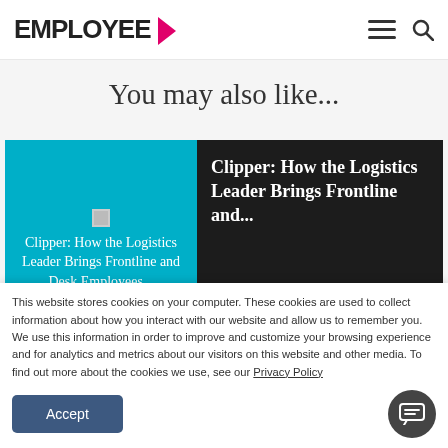EMPLOYEE >
You may also like...
[Figure (screenshot): Article card with teal/cyan image placeholder area showing 'Clipper: How the Logistics Leader Brings Frontline and Desk Employees...' text, alongside a dark panel with the same title in white bold serif font]
This website stores cookies on your computer. These cookies are used to collect information about how you interact with our website and allow us to remember you. We use this information in order to improve and customize your browsing experience and for analytics and metrics about our visitors both on this website and other media. To find out more about the cookies we use, see our Privacy Policy
Accept